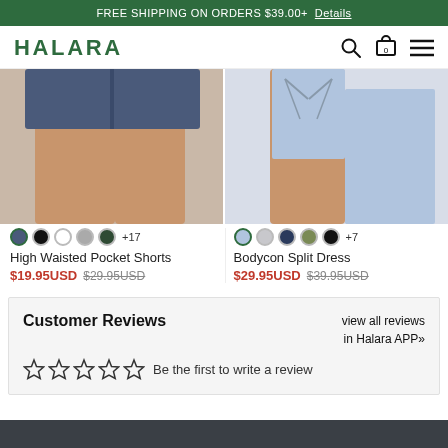FREE SHIPPING ON ORDERS $39.00+ Details
[Figure (logo): HALARA brand logo in green, with search, cart (0), and menu icons]
[Figure (photo): Close-up of model wearing dark blue High Waisted Pocket Shorts]
[Figure (photo): Close-up of model wearing light blue Bodycon Split Dress, showing back strap detail]
High Waisted Pocket Shorts $19.95USD $29.95USD
Bodycon Split Dress $29.95USD $39.95USD
Customer Reviews
view all reviews in Halara APP>>
Be the first to write a review